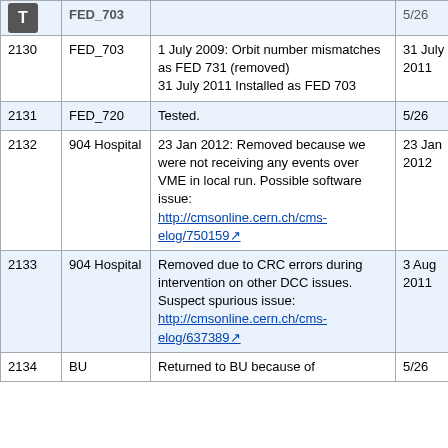| ID | Location | Description | Date | Status |
| --- | --- | --- | --- | --- |
| 2130 | FED_703 | 1 July 2009: Orbit number mismatches as FED 731 (removed)
31 July 2011 Installed as FED 703 | 31 July 2011 | OK |
| 2131 | FED_720 | Tested. | 5/26 | OK |
| 2132 | 904 Hospital | 23 Jan 2012: Removed because we were not receiving any events over VME in local run. Possible software issue: http://cmsonline.cern.ch/cms-elog/750159 | 23 Jan 2012 | Sick |
| 2133 | 904 Hospital | Removed due to CRC errors during intervention on other DCC issues. Suspect spurious issue: http://cmsonline.cern.ch/cms-elog/637389 | 3 Aug 2011 | OK |
| 2134 | BU | Returned to BU because of | 5/26 | Sick |